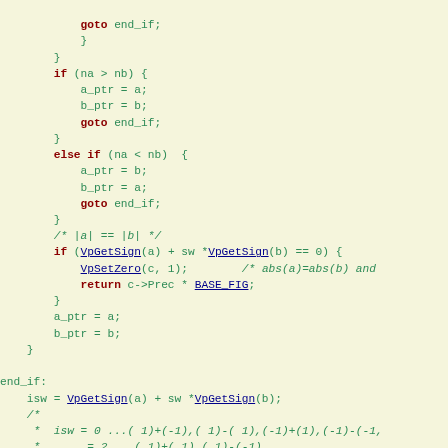Source code snippet showing C code with goto, if/else if blocks, VpGetSign, VpSetZero, BASE_FIG, and comment blocks